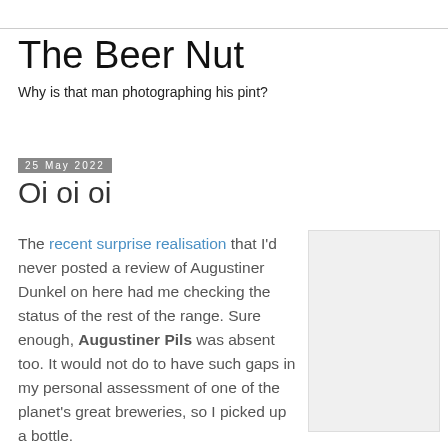The Beer Nut
Why is that man photographing his pint?
25 May 2022
Oi oi oi
The recent surprise realisation that I'd never posted a review of Augustiner Dunkel on here had me checking the status of the rest of the range. Sure enough, Augustiner Pils was absent too. It would not do to have such gaps in my personal assessment of one of the planet's great breweries, so I picked up a bottle.
[Figure (photo): Light gray placeholder image on right side of page]